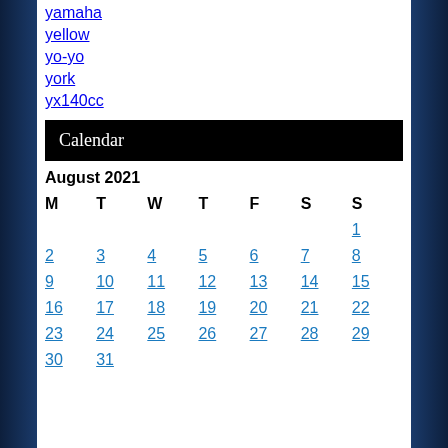yamaha
yellow
yo-yo
york
yx140cc
Calendar
| M | T | W | T | F | S | S |
| --- | --- | --- | --- | --- | --- | --- |
|  |  |  |  |  |  | 1 |
| 2 | 3 | 4 | 5 | 6 | 7 | 8 |
| 9 | 10 | 11 | 12 | 13 | 14 | 15 |
| 16 | 17 | 18 | 19 | 20 | 21 | 22 |
| 23 | 24 | 25 | 26 | 27 | 28 | 29 |
| 30 | 31 |  |  |  |  |  |